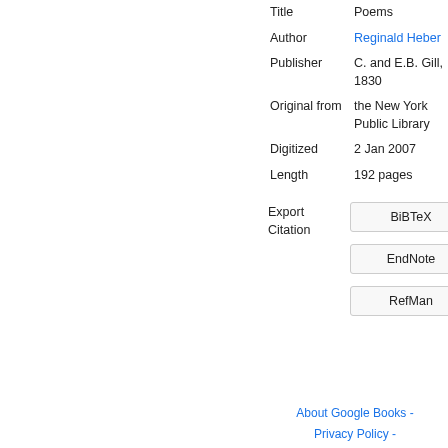| Field | Value |
| --- | --- |
| Title | Poems |
| Author | Reginald Heber |
| Publisher | C. and E.B. Gill, 1830 |
| Original from | the New York Public Library |
| Digitized | 2 Jan 2007 |
| Length | 192 pages |
Export Citation
BiBTeX
EndNote
RefMan
About Google Books - Privacy Policy -